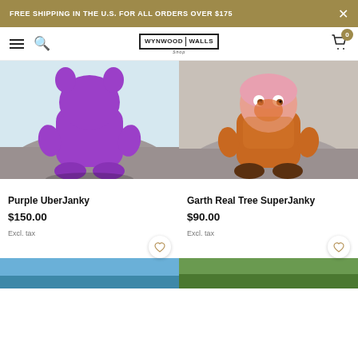FREE SHIPPING IN THE U.S. FOR ALL ORDERS OVER $175
[Figure (logo): Wynwood Walls Shop logo with hamburger menu, search icon, cart icon showing 0 items]
[Figure (photo): Purple UberJanky toy figure sitting on a rock outdoors]
[Figure (photo): Garth Real Tree SuperJanky toy figure with colorful face design sitting on a rock]
Purple UberJanky
$150.00
Excl. tax
Garth Real Tree SuperJanky
$90.00
Excl. tax
[Figure (photo): Partial bottom image left - blue sky background]
[Figure (photo): Partial bottom image right - green outdoor background]